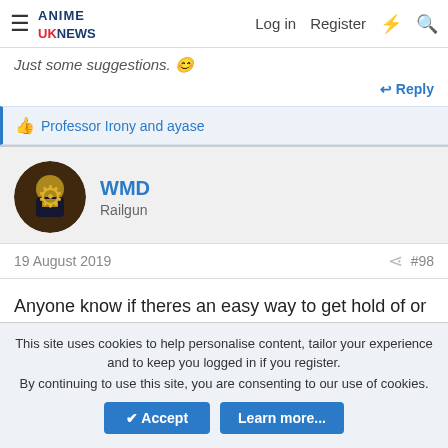Anime UK News — Log in | Register
Just some suggestions. 😊
↩ Reply
👍 Professor Irony and ayase
WMD
Railgun
19 August 2019   #98
Anyone know if theres an easy way to get hold of or watch Gunbuster? Dont really know anything about it.
↩ Reply
This site uses cookies to help personalise content, tailor your experience and to keep you logged in if you register.
By continuing to use this site, you are consenting to our use of cookies.
Accept   Learn more...